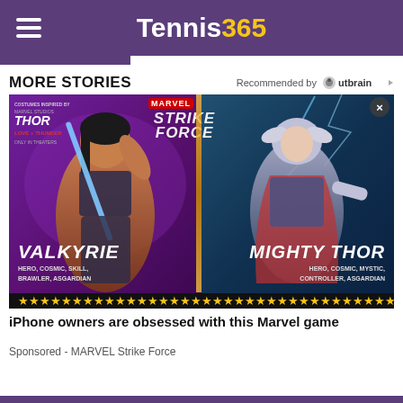Tennis365
MORE STORIES
Recommended by Outbrain
[Figure (screenshot): Marvel Strike Force advertisement showing two characters: Valkyrie (HERO, COSMIC, SKILL, BRAWLER, ASGARDIAN) and Mighty Thor (HERO, COSMIC, MYSTIC, CONTROLLER, ASGARDIAN) with gold stars along the bottom. Thor Love and Thunder branding top left, Marvel Strike Force logo top center.]
iPhone owners are obsessed with this Marvel game
Sponsored - MARVEL Strike Force